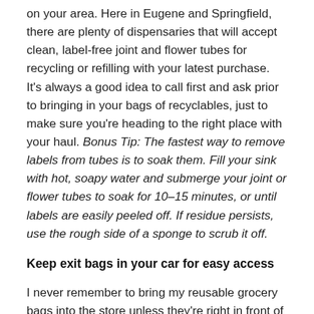on your area. Here in Eugene and Springfield, there are plenty of dispensaries that will accept clean, label-free joint and flower tubes for recycling or refilling with your latest purchase. It's always a good idea to call first and ask prior to bringing in your bags of recyclables, just to make sure you're heading to the right place with your haul. Bonus Tip: The fastest way to remove labels from tubes is to soak them. Fill your sink with hot, soapy water and submerge your joint or flower tubes to soak for 10–15 minutes, or until labels are easily peeled off. If residue persists, use the rough side of a sponge to scrub it off.
Keep exit bags in your car for easy access
I never remember to bring my reusable grocery bags into the store unless they're right in front of me, so to fix that problem, I store them in the back seat so I have to see them before I go in. The same rule of thumb applies for